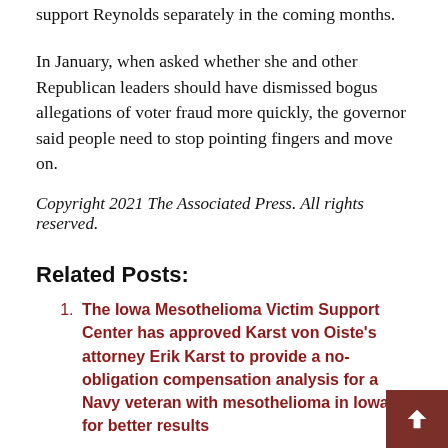support Reynolds separately in the coming months.
In January, when asked whether she and other Republican leaders should have dismissed bogus allegations of voter fraud more quickly, the governor said people need to stop pointing fingers and move on.
Copyright 2021 The Associated Press. All rights reserved.
Related Posts:
The Iowa Mesothelioma Victim Support Center has approved Karst von Oiste's attorney Erik Karst to provide a no-obligation compensation analysis for a Navy veteran with mesothelioma in Iowa for better results
Iowa man arrested in child sexual abuse in GR area
RP Lumber expands and acquires Malcom Lumber in Iowa
Delta variant calls for no response from reckless Iowa